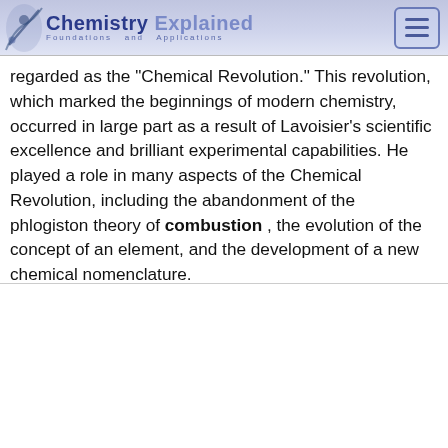Chemistry Explained Foundations and Applications
regarded as the "Chemical Revolution." This revolution, which marked the beginnings of modern chemistry, occurred in large part as a result of Lavoisier's scientific excellence and brilliant experimental capabilities. He played a role in many aspects of the Chemical Revolution, including the abandonment of the phlogiston theory of combustion , the evolution of the concept of an element, and the development of a new chemical nomenclature.